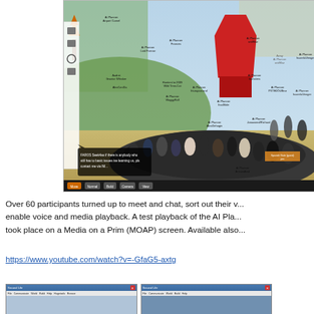[Figure (screenshot): Screenshot of a virtual world (Second Life style) showing over 60 avatar participants seated in a circular arrangement on a dark platform, with name tags visible above each avatar, a red structure in the background, green landscape, and a chat bubble at the bottom left. A toolbar is on the left side and a bottom navigation bar is visible.]
Over 60 participants turned up to meet and chat, sort out their v... enable voice and media playback. A test playback of the AI Pla... took place on a Media on a Prim (MOAP) screen. Available also...
https://www.youtube.com/watch?v=-GfaG5-axtg
[Figure (screenshot): Two partial screenshots of what appears to be a virtual world client application, showing titlebar, menu bar, and content area.]